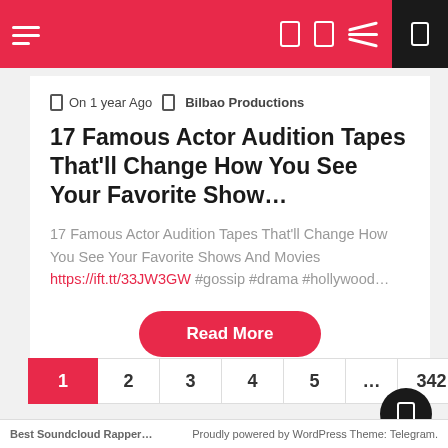Navigation bar with hamburger menu, icons, and black box
On 1 year Ago  Bilbao Productions
17 Famous Actor Audition Tapes That'll Change How You See Your Favorite Show…
17 Famous Actor Audition Tapes That'll Change How You See Your Favorite Shows And Movies https://ift.tt/33JW3GW #gossip #drama #hollywood…
Read More
1 2 3 4 5 … 342 →
Best Soundcloud Rapper…   Proudly powered by WordPress Theme: Telegram.